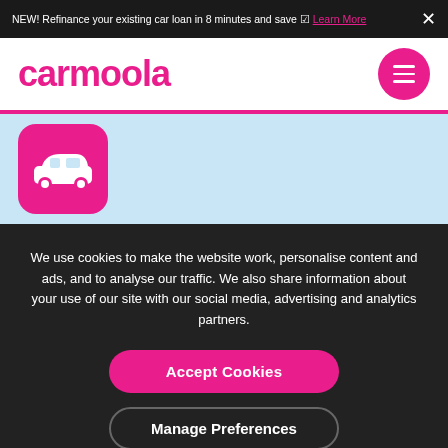NEW! Refinance your existing car loan in 8 minutes and save ☑ Learn More
[Figure (logo): Carmoola logo in pink text]
[Figure (illustration): Carmoola app icon with car graphic on pink rounded square background, over a light blue section]
We use cookies to make the website work, personalise content and ads, and to analyse our traffic. We also share information about your use of our site with our social media, advertising and analytics partners.
Accept Cookies
Manage Preferences